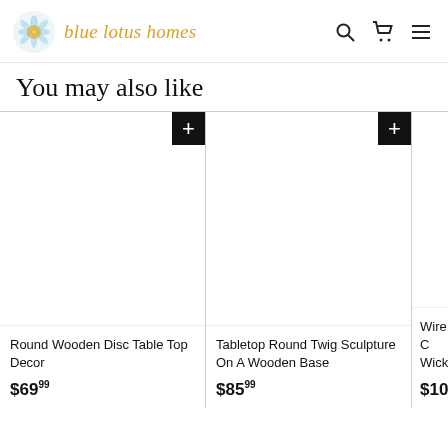blue lotus homes
You may also like
Round Wooden Disc Table Top Decor
$69.99
Tabletop Round Twig Sculpture On A Wooden Base
$85.99
Wire C Wicker
$101.9